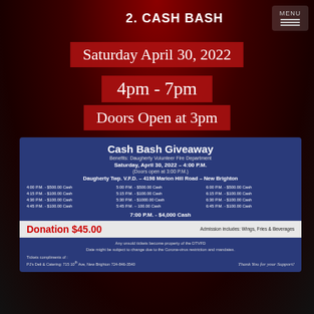2. CASH BASH
Saturday April 30, 2022
4pm - 7pm
Doors Open at 3pm
[Figure (infographic): Cash Bash Giveaway flyer for Daugherty Volunteer Fire Department. Saturday April 30 2022 4:00 PM, doors open 3:00 PM. Location: Daugherty Twp. V.F.D. 4198 Marion Hill Road New Brighton. Schedule of cash prizes from 4:00 PM to 7:00 PM. Donation $45.00, includes Wings Fries and Beverages. Notes about unsold tickets and schedule changes. Tickets compliments of PJ's Deli & Catering.]